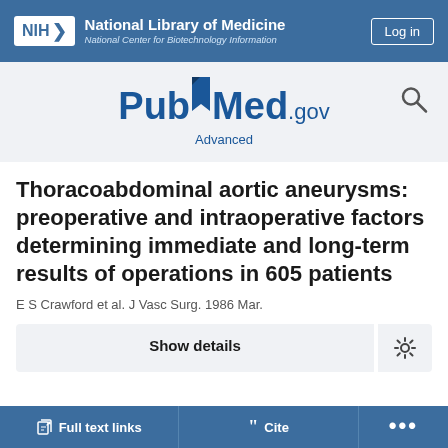[Figure (logo): NIH National Library of Medicine header with blue background, NIH badge, institution name, and Log in button]
[Figure (logo): PubMed.gov logo with bookmark icon and search magnifying glass icon, with Advanced link below]
Thoracoabdominal aortic aneurysms: preoperative and intraoperative factors determining immediate and long-term results of operations in 605 patients
E S Crawford et al. J Vasc Surg. 1986 Mar.
Show details
Full text links
Cite